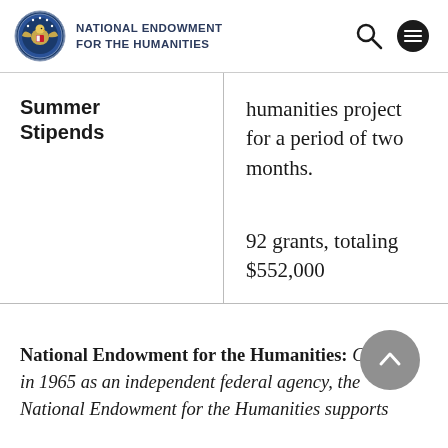NATIONAL ENDOWMENT FOR THE HUMANITIES
Summer Stipends
humanities project for a period of two months.
92 grants, totaling $552,000
National Endowment for the Humanities: Created in 1965 as an independent federal agency, the National Endowment for the Humanities supports